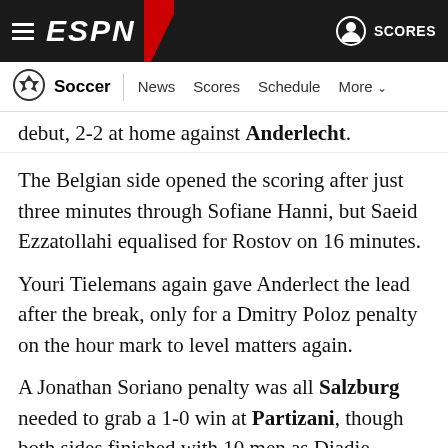ESPN Soccer — News Scores Schedule More
debut, 2-2 at home against Anderlecht.
The Belgian side opened the scoring after just three minutes through Sofiane Hanni, but Saeid Ezzatollahi equalised for Rostov on 16 minutes.
Youri Tielemans again gave Anderlect the lead after the break, only for a Dmitry Poloz penalty on the hour mark to level matters again.
A Jonathan Soriano penalty was all Salzburg needed to grab a 1-0 win at Partizani, though both sides finished with 10 men as Diadie Samassekou and Reinaldo Kalari were both dismissed.
Fullerton...